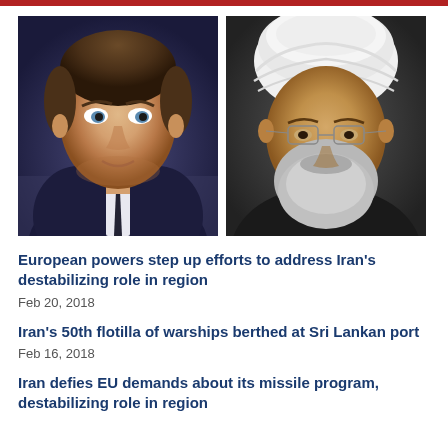[Figure (photo): Two side-by-side portrait photos: left shows Emmanuel Macron in a suit, right shows Hassan Rouhani wearing a white turban and glasses]
European powers step up efforts to address Iran's destabilizing role in region
Feb 20, 2018
Iran's 50th flotilla of warships berthed at Sri Lankan port
Feb 16, 2018
Iran defies EU demands about its missile program, destabilizing role in region